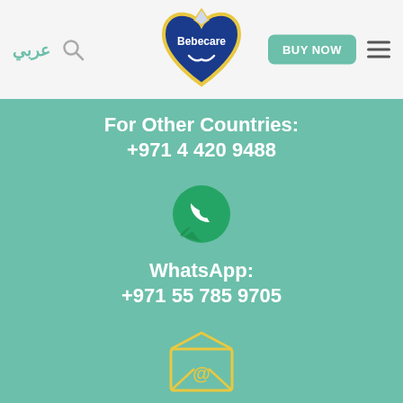[Figure (logo): Bebecare heart-shaped logo in blue with yellow outline]
عربي
For Other Countries: +971 4 420 9488
[Figure (illustration): WhatsApp phone handset icon in green circle with speech bubble]
WhatsApp: +971 55 785 9705
[Figure (illustration): Email envelope icon in yellow/gold with @ symbol]
Email: careline@bebecare.me